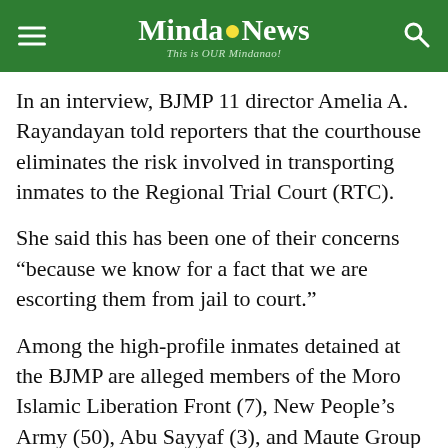MindaNews — This is OUR Mindanao!
In an interview, BJMP 11 director Amelia A. Rayandayan told reporters that the courthouse eliminates the risk involved in transporting inmates to the Regional Trial Court (RTC).
She said this has been one of their concerns “because we know for a fact that we are escorting them from jail to court.”
Among the high-profile inmates detained at the BJMP are alleged members of the Moro Islamic Liberation Front (7), New People’s Army (50), Abu Sayyaf (3), and Maute Group (5).
Rayandayan said the fire allowed Maute members...